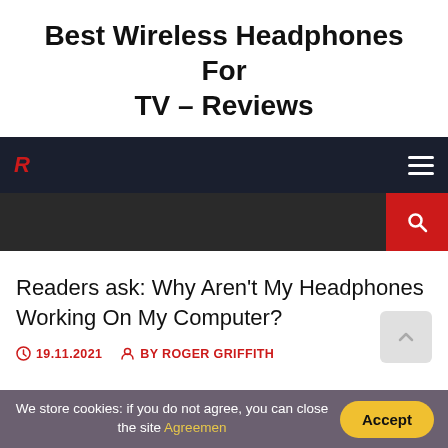Best Wireless Headphones For TV – Reviews
[Figure (screenshot): Website navigation bar with dark background, hamburger menu icon on right, red R logo on left, and a second dark bar with a red search button on the right]
Readers ask: Why Aren't My Headphones Working On My Computer?
19.11.2021  BY ROGER GRIFFITH
We store cookies: if you do not agree, you can close the site Agreemen   Accept